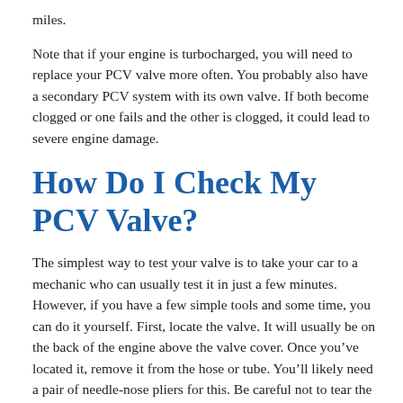miles.
Note that if your engine is turbocharged, you will need to replace your PCV valve more often. You probably also have a secondary PCV system with its own valve. If both become clogged or one fails and the other is clogged, it could lead to severe engine damage.
How Do I Check My PCV Valve?
The simplest way to test your valve is to take your car to a mechanic who can usually test it in just a few minutes. However, if you have a few simple tools and some time, you can do it yourself. First, locate the valve. It will usually be on the back of the engine above the valve cover. Once you’ve located it, remove it from the hose or tube. You’ll likely need a pair of needle-nose pliers for this. Be careful not to tear the rubber hose or tube. Rubber can dry rot over time and if it tears, you’ll need to replace that as well as the valve.
With the valve free, shake it. Listen for a metallic rattling